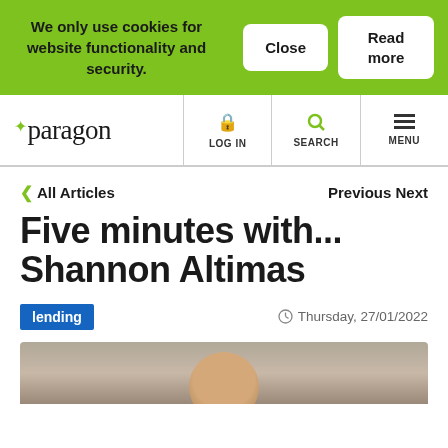We only use cookies for website functionality and security.
Close
Read more
paragon — LOG IN  SEARCH  MENU
< All Articles
Previous Next
Five minutes with... Shannon Altimas
lending
Thursday, 27/01/2022
[Figure (photo): Partial photo of Shannon Altimas at the bottom of the page]